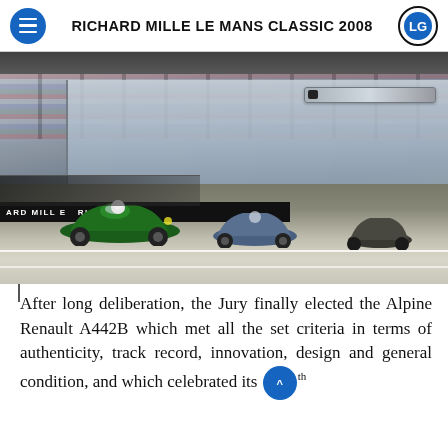RICHARD MILLE LE MANS CLASSIC 2008
[Figure (photo): Vintage racing cars on the Le Mans circuit pit straight with packed grandstands in the background. A green pre-war racing car leads the pack. Richard Mille branding visible on pit lane barriers.]
After long deliberation, the Jury finally elected the Alpine Renault A442B which met all the set criteria in terms of authenticity, track record, innovation, design and general condition, and which celebrated its [30]th anniversary at this event.